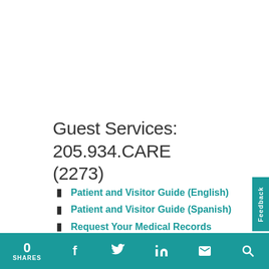Guest Services: 205.934.CARE (2273)
Patient and Visitor Guide (English)
Patient and Visitor Guide (Spanish)
Request Your Medical Records
Patient and Guest Feedback
Join Our Patient & Family Advisory Council
0 SHARES  [Facebook] [Twitter] [LinkedIn] [Email] [Search] Feedback